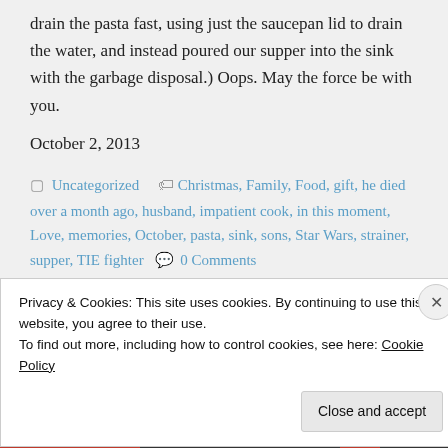drain the pasta fast, using just the saucepan lid to drain the water, and instead poured our supper into the sink with the garbage disposal.) Oops. May the force be with you.
October 2, 2013
Uncategorized   Christmas, Family, Food, gift, he died over a month ago, husband, impatient cook, in this moment, Love, memories, October, pasta, sink, sons, Star Wars, strainer, supper, TIE fighter   0 Comments
Privacy & Cookies: This site uses cookies. By continuing to use this website, you agree to their use.
To find out more, including how to control cookies, see here: Cookie Policy